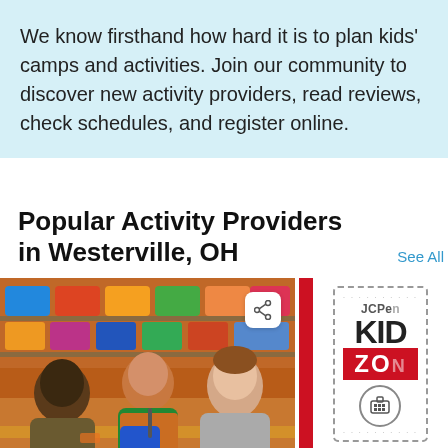We know firsthand how hard it is to plan kids' camps and activities. Join our community to discover new activity providers, read reviews, check schedules, and register online.
Popular Activity Providers in Westerville, OH
See All
[Figure (photo): Photo of two Home Depot employees in orange aprons working with a customer at a table, with colorful storage bins visible in the background]
[Figure (photo): JCPenney Kids Zone advertisement on a red and white panel showing badge with 'JCPenney', 'KID', 'ZONE', building icon, 'SECOND S...' and 'EVERY M...' text]